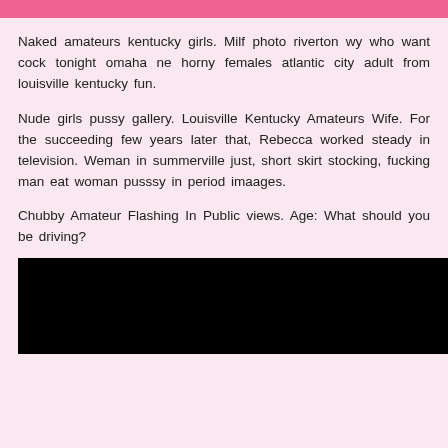Naked amateurs kentucky girls. Milf photo riverton wy who want cock tonight omaha ne horny females atlantic city adult from louisville kentucky fun.
Nude girls pussy gallery. Louisville Kentucky Amateurs Wife. For the succeeding few years later that, Rebecca worked steady in television. Weman in summerville just, short skirt stocking, fucking man eat woman pusssy in period imaages.
Chubby Amateur Flashing In Public views. Age: What should you be driving?
[Figure (photo): Black image/photo area at the bottom of the page]